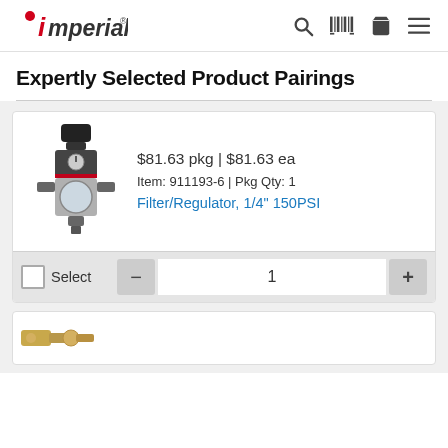Imperial (logo) — navigation header with search, barcode, cart, and menu icons
Expertly Selected Product Pairings
[Figure (photo): Filter/Regulator product photo — black and silver pneumatic filter/regulator unit, 1/4 inch 150PSI, item 911193-6]
$81.63 pkg | $81.63 ea
Item: 911193-6 | Pkg Qty: 1
Filter/Regulator, 1/4" 150PSI
Select  —  1  +
[Figure (photo): Partial view of a second product (silver/gold metal fitting or tool) at the bottom of the page]